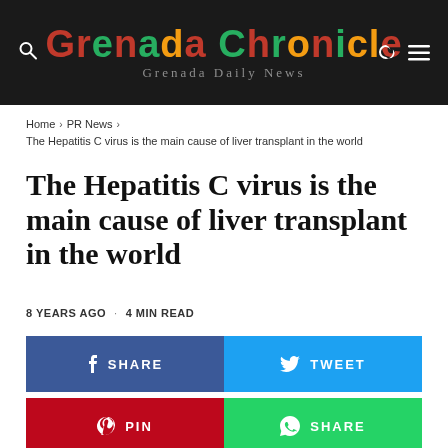[Figure (logo): Grenada Chronicle logo with colorful letters on dark background, subtitle 'Grenada Daily News']
Home > PR News > The Hepatitis C virus is the main cause of liver transplant in the world
The Hepatitis C virus is the main cause of liver transplant in the world
8 YEARS AGO · 4 MIN READ
SHARE
TWEET
PIN
SHARE